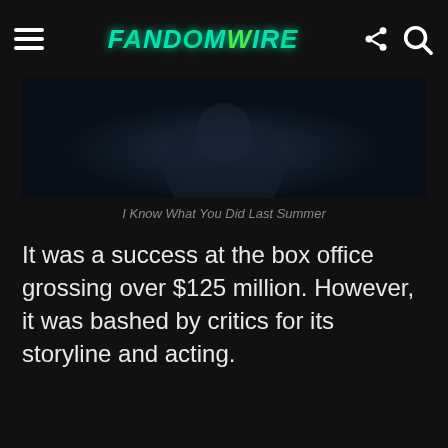FandomWire
[Figure (photo): Dark blue-toned movie still from I Know What You Did Last Summer showing a person's face in shadow]
I Know What You Did Last Summer
It was a success at the box office grossing over $125 million. However, it was bashed by critics for its storyline and acting.